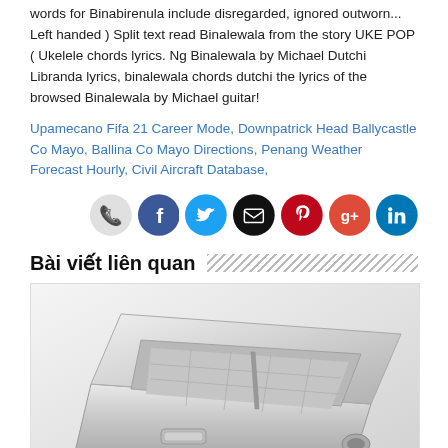words for Binabirenula include disregarded, ignored outworn... Left handed ) Split text read Binalewala from the story UKE POP ( Ukelele chords lyrics. Ng Binalewala by Michael Dutchi Libranda lyrics, binalewala chords dutchi the lyrics of the browsed Binalewala by Michael guitar!
Upamecano Fifa 21 Career Mode, Downpatrick Head Ballycastle Co Mayo, Ballina Co Mayo Directions, Penang Weather Forecast Hourly, Civil Aircraft Database,
[Figure (infographic): Social sharing icon buttons: phone (grey), Facebook (blue), Twitter (blue), email (black), Pinterest (red), Google+ (orange-red), LinkedIn (blue)]
Bài viết liên quan
[Figure (photo): A stainless steel kitchen sink or industrial washing basin, open lid showing interior compartments with grid/mesh, handle on the front panel, photographed at an angle on white background.]